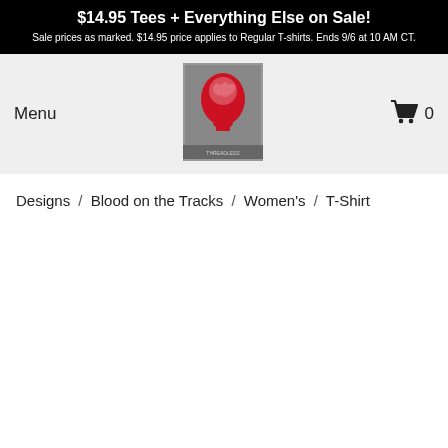$14.95 Tees + Everything Else on Sale! Sale prices as marked. $14.95 price applies to Regular T-shirts. Ends 9/6 at 10 AM CT.
[Figure (logo): Threadless logo: red silhouette of a human head with brain visible, on gray background with text border]
Menu
0
Designs / Blood on the Tracks / Women's / T-Shirt